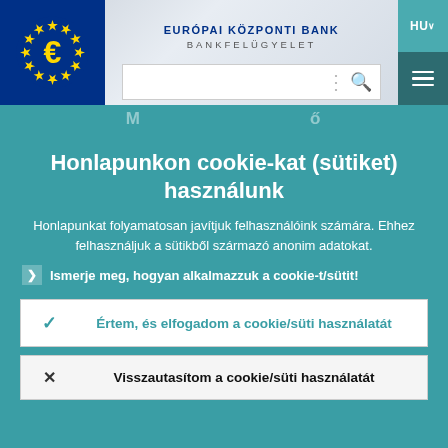EURÓPAI KÖZPONTI BANK BANKFELÜGYELET
Honlapunkon cookie-kat (sütiket) használunk
Honlapunkat folyamatosan javítjuk felhasználóink számára. Ehhez felhasználjuk a sütikből származó anonim adatokat.
Ismerje meg, hogyan alkalmazzuk a cookie-t/sütit!
Értem, és elfogadom a cookie/süti használatát
Visszautasítom a cookie/süti használatát